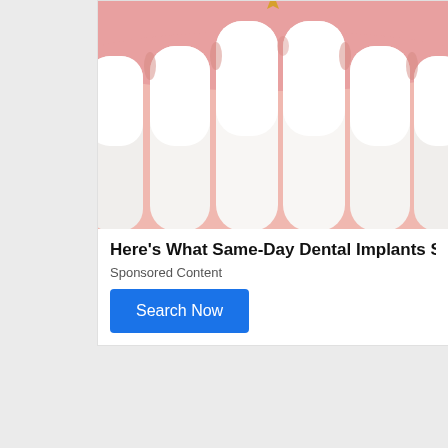[Figure (illustration): Close-up illustration of dental implants showing white teeth against pink gum tissue]
Here's What Same-Day Dental Implants Should Co
Sponsored Content
Search Now
Sponsored Ad
[Figure (photo): Photo of a man with dark hair against a blue background, cropped at forehead level]
[Figure (logo): TrustedSite certified secure badge with green checkmark]